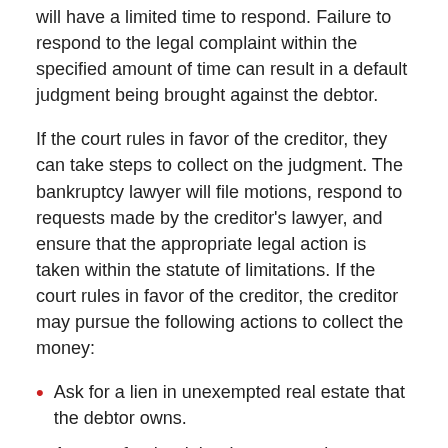will have a limited time to respond. Failure to respond to the legal complaint within the specified amount of time can result in a default judgment being brought against the debtor.
If the court rules in favor of the creditor, they can take steps to collect on the judgment. The bankruptcy lawyer will file motions, respond to requests made by the creditor’s lawyer, and ensure that the appropriate legal action is taken within the statute of limitations. If the court rules in favor of the creditor, the creditor may pursue the following actions to collect the money:
Ask for a lien in unexempted real estate that the debtor owns.
Arrange for the debtor’s wages to be garnished.
Sell their property.
Non-Exempt Property and